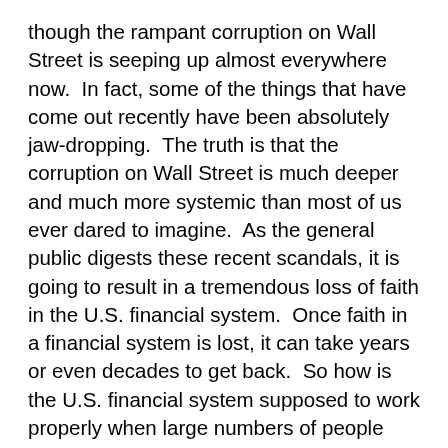though the rampant corruption on Wall Street is seeping up almost everywhere now.  In fact, some of the things that have come out recently have been absolutely jaw-dropping.  The truth is that the corruption on Wall Street is much deeper and much more systemic than most of us ever dared to imagine.  As the general public digests these recent scandals, it is going to result in a tremendous loss of faith in the U.S. financial system.  Once faith in a financial system is lost, it can take years or even decades to get back.  So how is the U.S. financial system supposed to work properly when large numbers of people simply do not believe in it anymore?
Just consider some of the recent revelations of Wall Street corruption that have come